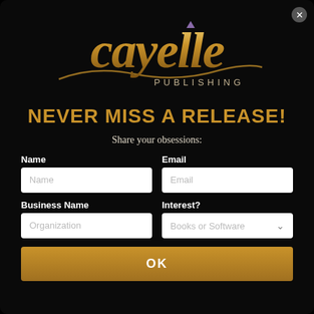[Figure (logo): Cayelle Publishing logo in gold stylized lettering on black background]
NEVER MISS A RELEASE!
Share your obsessions:
Name
Email
Business Name
Interest?
OK